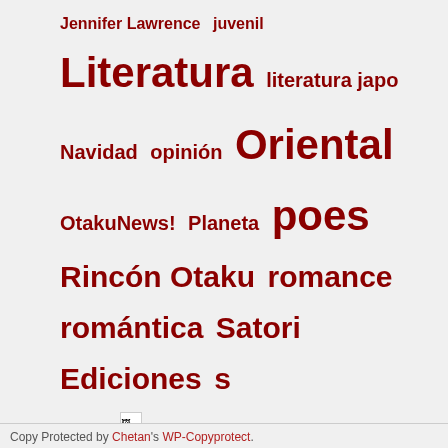Jennifer Lawrence  juvenil  Literatura  literatura japo  Navidad  opinión  Oriental  OtakuNews!  Planeta  poes  Rincón Otaku  romance  romántica  Satori Ediciones  s
[Figure (other): Broken image placeholder icon]
mundodelmarketing.com/traductor.htm - Traducir del Español al Inglés
click aquí - Traductor Ingles Español
dominios-web.com - Dominios y Alojamiento
click aquí - Muestras Gratis
dominios-web - Dominios y Hosting
Copyright © Pandora Magazine. Todos los derechos reservados. Pandora Magazine no s Pandora Magazine|Apdo de Correos 4.015|CP:24010|León info@pandora-magazine.com
Copy Protected by Chetan's WP-Copyprotect.